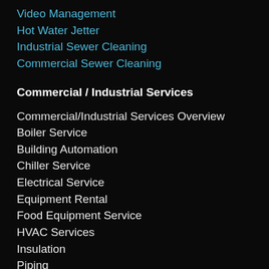Video Management
Hot Water Jetter
Industrial Sewer Cleaning
Commercial Sewer Cleaning
Commercial / Industrial Services
Commercial/Industrial Services Overview
Boiler Service
Building Automation
Chiller Service
Electrical Service
Equipment Rental
Food Equipment Service
HVAC Services
Insulation
Piping
Plumbing Service